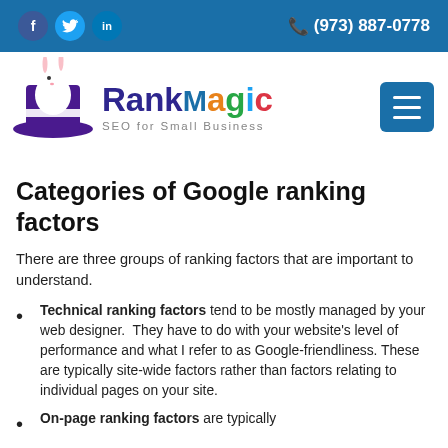f  (social)  in  (973) 887-0778
[Figure (logo): RankMagic SEO for Small Business logo with rabbit in magician hat]
Categories of Google ranking factors
There are three groups of ranking factors that are important to understand.
Technical ranking factors tend to be mostly managed by your web designer. They have to do with your website's level of performance and what I refer to as Google-friendliness. These are typically site-wide factors rather than factors relating to individual pages on your site.
On-page ranking factors are typically...